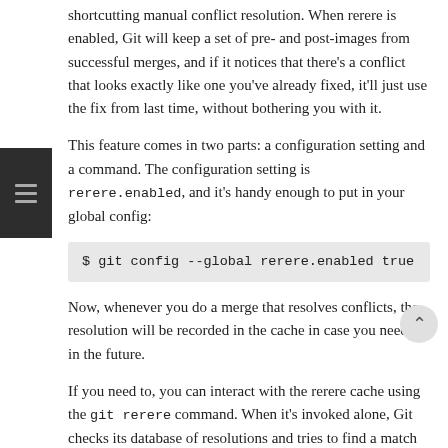shortcutting manual conflict resolution. When rerere is enabled, Git will keep a set of pre- and post-images from successful merges, and if it notices that there's a conflict that looks exactly like one you've already fixed, it'll just use the fix from last time, without bothering you with it.
This feature comes in two parts: a configuration setting and a command. The configuration setting is rerere.enabled, and it's handy enough to put in your global config:
$ git config --global rerere.enabled true
Now, whenever you do a merge that resolves conflicts, the resolution will be recorded in the cache in case you need it in the future.
If you need to, you can interact with the rerere cache using the git rerere command. When it's invoked alone, Git checks its database of resolutions and tries to find a match with any current merge conflicts and resolve them (although this is done automatically if rerere.enabled is set to true). There are also subcommands to see what will be recorded, to erase specific resolution from the cache, and to